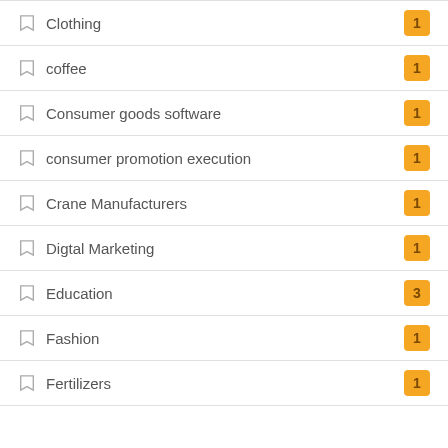Clothing — 1
coffee — 1
Consumer goods software — 1
consumer promotion execution — 1
Crane Manufacturers — 1
Digtal Marketing — 1
Education — 3
Fashion — 1
Fertilizers — 1